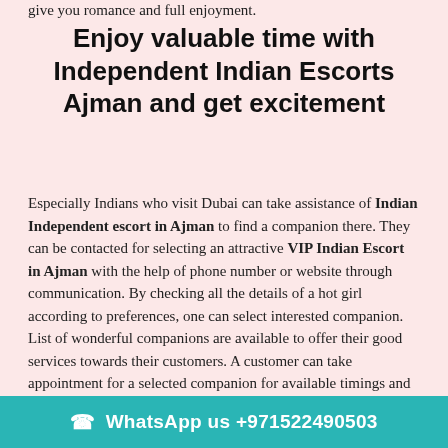give you romance and full enjoyment.
Enjoy valuable time with Independent Indian Escorts Ajman and get excitement
Especially Indians who visit Dubai can take assistance of Indian Independent escort in Ajman to find a companion there. They can be contacted for selecting an attractive VIP Indian Escort in Ajman with the help of phone number or website through communication. By checking all the details of a hot girl according to preferences, one can select interested companion. List of wonderful companions are available to offer their good services towards their customers. A customer can take appointment for a selected companion for available timings and location. Ajman escort girl offers her company anywhere in the city while staying at hotel, journ and support every minute for enjoying and creates fun
WhatsApp us +971522490503